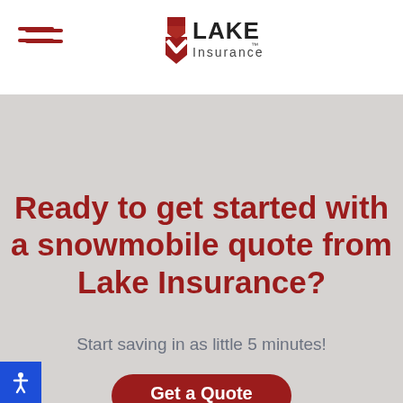[Figure (logo): Lake Insurance logo with red shield/chevron icon and text LAKE Insurance]
Ready to get started with a snowmobile quote from Lake Insurance?
Start saving in as little 5 minutes!
Get a Quote